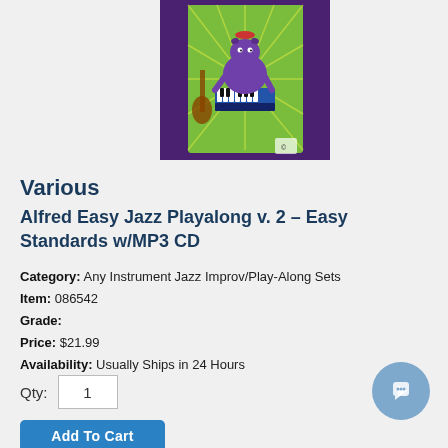[Figure (illustration): Album cover artwork showing a cartoon purple cow playing piano with a bass in the background, colorful green/yellow starburst background, purple outer background, small logo in bottom right corner]
Various
Alfred Easy Jazz Playalong v. 2 - Easy Standards w/MP3 CD
Category: Any Instrument Jazz Improv/Play-Along Sets
Item: 086542
Grade:
Price: $21.99
Availability: Usually Ships in 24 Hours
Qty: 1
Add To Cart